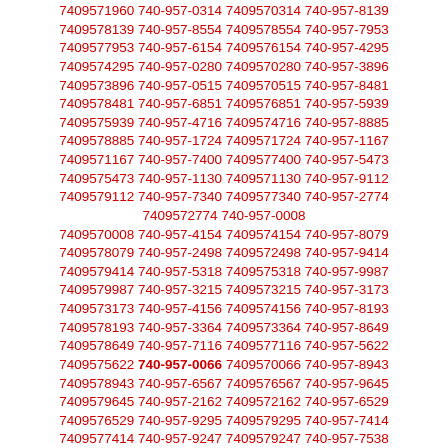7409571960 740-957-0314 7409570314 740-957-8139 7409578139 740-957-8554 7409578554 740-957-7953 7409577953 740-957-6154 7409576154 740-957-4295 7409574295 740-957-0280 7409570280 740-957-3896 7409573896 740-957-0515 7409570515 740-957-8481 7409578481 740-957-6851 7409576851 740-957-5939 7409575939 740-957-4716 7409574716 740-957-8885 7409578885 740-957-1724 7409571724 740-957-1167 7409571167 740-957-7400 7409577400 740-957-5473 7409575473 740-957-1130 7409571130 740-957-9112 7409579112 740-957-7340 7409577340 740-957-2774 7409572774 740-957-0008 7409570008 740-957-4154 7409574154 740-957-8079 7409578079 740-957-2498 7409572498 740-957-9414 7409579414 740-957-5318 7409575318 740-957-9987 7409579987 740-957-3215 7409573215 740-957-3173 7409573173 740-957-4156 7409574156 740-957-8193 7409578193 740-957-3364 7409573364 740-957-8649 7409578649 740-957-7116 7409577116 740-957-5622 7409575622 740-957-0066 7409570066 740-957-8943 7409578943 740-957-6567 7409576567 740-957-9645 7409579645 740-957-2162 7409572162 740-957-6529 7409576529 740-957-9295 7409579295 740-957-7414 7409577414 740-957-9247 7409579247 740-957-7538 7409577538 740-957-0336 7409570336 740-957-7655